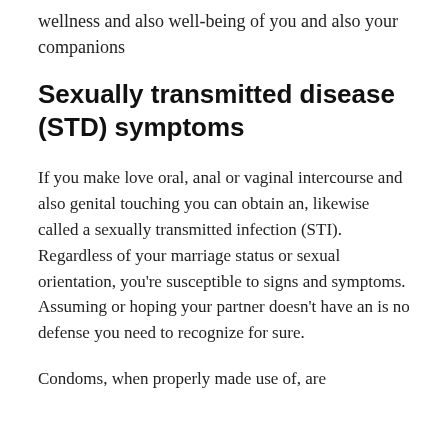wellness and also well-being of you and also your companions
Sexually transmitted disease (STD) symptoms
If you make love oral, anal or vaginal intercourse and also genital touching you can obtain an, likewise called a sexually transmitted infection (STI). Regardless of your marriage status or sexual orientation, you're susceptible to signs and symptoms. Assuming or hoping your partner doesn't have an is no defense you need to recognize for sure.
Condoms, when properly made use of, are